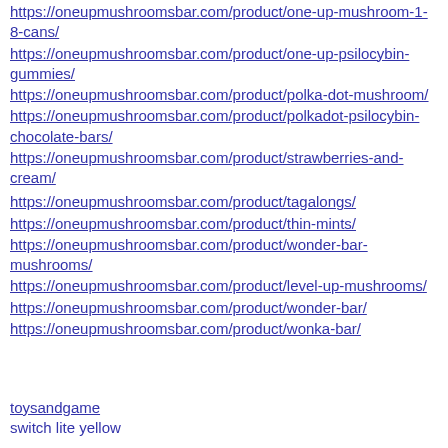https://oneupmushroomsbar.com/product/one-up-mushroom-1-8-cans/
https://oneupmushroomsbar.com/product/one-up-psilocybin-gummies/
https://oneupmushroomsbar.com/product/polka-dot-mushroom/
https://oneupmushroomsbar.com/product/polkadot-psilocybin-chocolate-bars/
https://oneupmushroomsbar.com/product/strawberries-and-cream/
https://oneupmushroomsbar.com/product/tagalongs/
https://oneupmushroomsbar.com/product/thin-mints/
https://oneupmushroomsbar.com/product/wonder-bar-mushrooms/
https://oneupmushroomsbar.com/product/level-up-mushrooms/
https://oneupmushroomsbar.com/product/wonder-bar/
https://oneupmushroomsbar.com/product/wonka-bar/
toysandgame
switch lite yellow